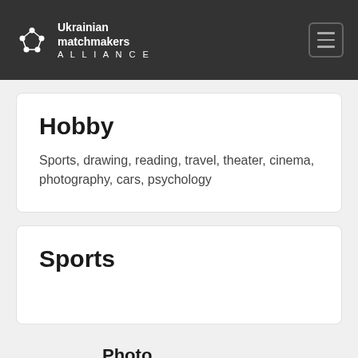Ukrainian matchmakers ALLIANCE
Hobby
Sports, drawing, reading, travel, theater, cinema, photography, cars, psychology
Sports
Photo